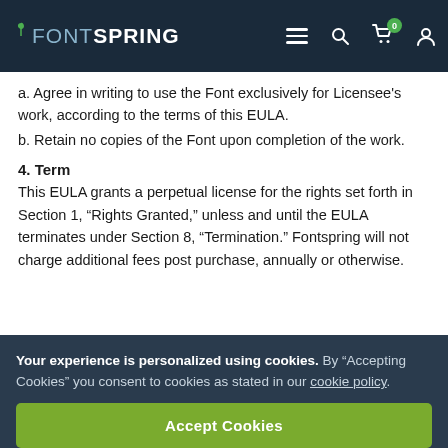FONTSPRING [logo with navigation: hamburger menu, search, cart (0), user]
a. Agree in writing to use the Font exclusively for Licensee's work, according to the terms of this EULA.
b. Retain no copies of the Font upon completion of the work.
4. Term
This EULA grants a perpetual license for the rights set forth in Section 1, “Rights Granted,” unless and until the EULA terminates under Section 8, “Termination.” Fontspring will not charge additional fees post purchase, annually or otherwise.
Your experience is personalized using cookies. By “Accepting Cookies” you consent to cookies as stated in our cookie policy.
Accept Cookies